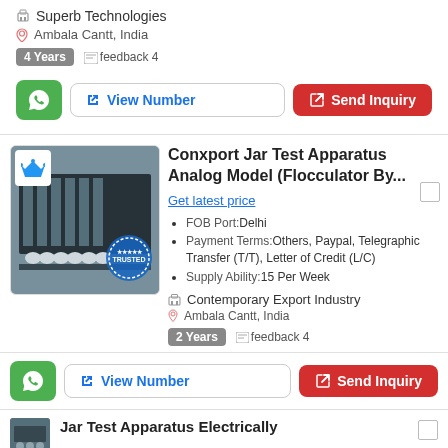Superb Technologies
Ambala Cantt, India
4 Years   feedback 4
View Number
Send Inquiry
Conxport Jar Test Apparatus Analog Model (Flocculator By...
Get latest price
FOB Port:Delhi
Payment Terms:Others, Paypal, Telegraphic Transfer (T/T), Letter of Credit (L/C)
Supply Ability:15 Per Week
Contemporary Export Industry
Ambala Cantt, India
2 Years   feedback 4
View Number
Send Inquiry
Jar Test Apparatus Electrically